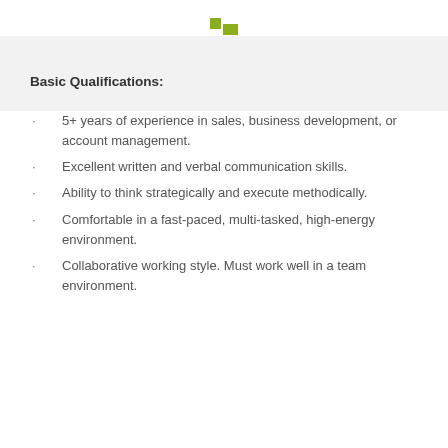[Figure (logo): Two small green squares forming an L-shape logo]
Basic Qualifications:
5+ years of experience in sales, business development, or account management.
Excellent written and verbal communication skills.
Ability to think strategically and execute methodically.
Comfortable in a fast-paced, multi-tasked, high-energy environment.
Collaborative working style. Must work well in a team environment.